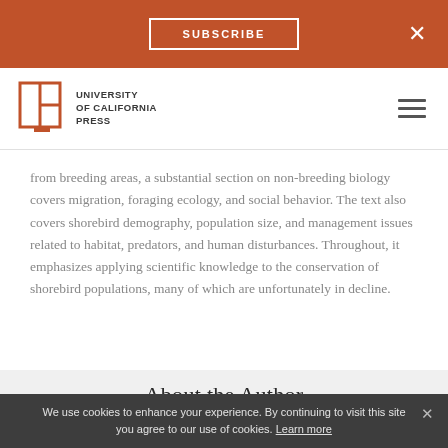SUBSCRIBE
[Figure (logo): University of California Press logo with open book icon and text reading UNIVERSITY of CALIFORNIA PRESS]
from breeding areas, a substantial section on non-breeding biology covers migration, foraging ecology, and social behavior. The text also covers shorebird demography, population size, and management issues related to habitat, predators, and human disturbances. Throughout, it emphasizes applying scientific knowledge to the conservation of shorebird populations, many of which are unfortunately in decline.
About the Author
We use cookies to enhance your experience. By continuing to visit this site you agree to our use of cookies. Learn more